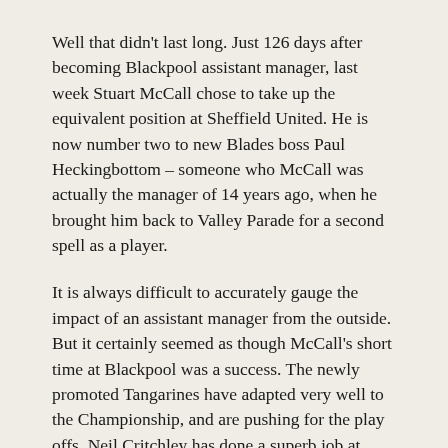Well that didn't last long. Just 126 days after becoming Blackpool assistant manager, last week Stuart McCall chose to take up the equivalent position at Sheffield United. He is now number two to new Blades boss Paul Heckingbottom – someone who McCall was actually the manager of 14 years ago, when he brought him back to Valley Parade for a second spell as a player.
It is always difficult to accurately gauge the impact of an assistant manager from the outside. But it certainly seemed as though McCall's short time at Blackpool was a success. The newly promoted Tangarines have adapted very well to the Championship, and are pushing for the play offs. Neil Critchley has done a superb job at Bloomfield Road and recently signed a new long term deal.
It appeared that – as far as job security goes in football management – McCall was in a good place at Blackpool.
It is in some ways a gamble to give that up, especially with Sheffield United's recent problems. But it is a club that McCall has a huge level of affection for, and an easier commute from his Yorkshire home. As anyone who visits the seaside town will